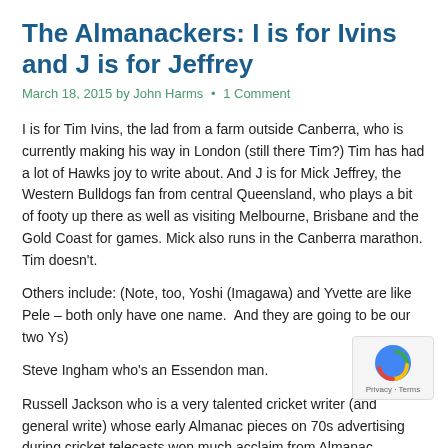The Almanackers: I is for Ivins and J is for Jeffrey
March 18, 2015 by John Harms • 1 Comment
I is for Tim Ivins, the lad from a farm outside Canberra, who is currently making his way in London (still there Tim?) Tim has had a lot of Hawks joy to write about. And J is for Mick Jeffrey, the Western Bulldogs fan from central Queensland, who plays a bit of footy up there as well as visiting Melbourne, Brisbane and the Gold Coast for games. Mick also runs in the Canberra marathon. Tim doesn't.
Others include: (Note, too, Yoshi (Imagawa) and Yvette are like Pele – both only have one name.  And they are going to be our two Ys)
Steve Ingham who's an Essendon man.
Russell Jackson who is a very talented cricket writer (and general write) whose early Almanac pieces on 70s advertising during cricket telecasts won much acclaim from Almanac readers.
Daniel Jackson, maverick Tiger and AFLPA thinker, has written for u… would welcome you back any time Daniel.
Ben Jensen has a website called The Cattery